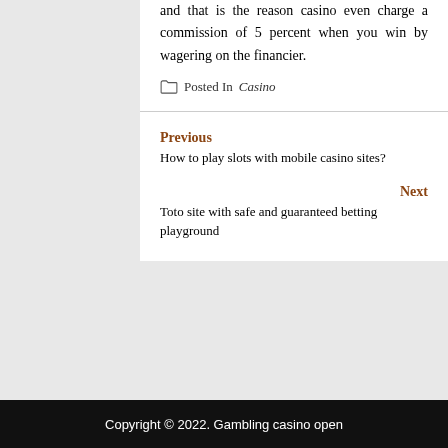and that is the reason casino even charge a commission of 5 percent when you win by wagering on the financier.
Posted In Casino
Previous
How to play slots with mobile casino sites?
Next
Toto site with safe and guaranteed betting playground
Copyright © 2022. Gambling casino open